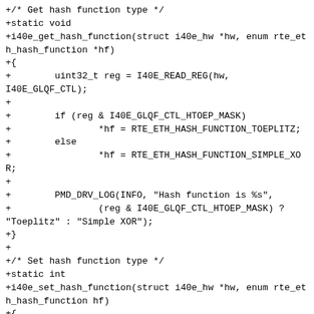+/* Get hash function type */
+static void
+i40e_get_hash_function(struct i40e_hw *hw, enum rte_eth_hash_function *hf)
+{
+        uint32_t reg = I40E_READ_REG(hw, I40E_GLQF_CTL);
+
+        if (reg & I40E_GLQF_CTL_HTOEP_MASK)
+                *hf = RTE_ETH_HASH_FUNCTION_TOEPLITZ;
+        else
+                *hf = RTE_ETH_HASH_FUNCTION_SIMPLE_XOR;
+
+        PMD_DRV_LOG(INFO, "Hash function is %s",
+                (reg & I40E_GLQF_CTL_HTOEP_MASK) ?
"Toeplitz" : "Simple XOR");
+}
+
+/* Set hash function type */
+static int
+i40e_set_hash_function(struct i40e_hw *hw, enum rte_eth_hash_function hf)
+{
+        uint32_t reg = I40E_READ_REG(hw, I40E_GLQF_CTL);
+
+        if (hf == RTE_ETH_HASH_FUNCTION_TOEPLITZ) {
+                if (reg & I40E_GLQF_CTL_HTOEP_MASK) {
+                        PMD_DRV_LOG(DEBUG, "Hash function already set to "